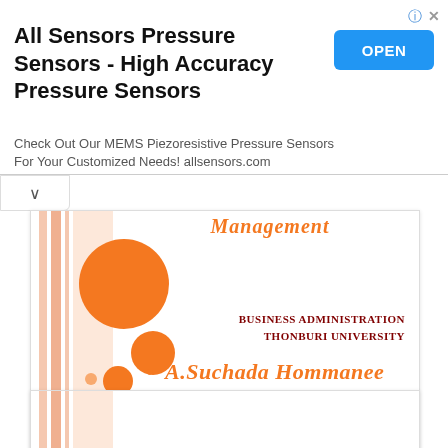[Figure (screenshot): Advertisement banner for All Sensors Pressure Sensors showing title, OPEN button, and description text]
All Sensors Pressure Sensors - High Accuracy Pressure Sensors
Check Out Our MEMS Piezoresistive Pressure Sensors For Your Customized Needs! allsensors.com
[Figure (illustration): Document cover slide with orange bubble decorations, orange italic title 'Management', institution text 'BUSINESS ADMINISTRATION THONBURI UNIVERSITY' in dark red, and author name 'A.Suchada Hommanee' in orange italic]
Management
BUSINESS ADMINISTRATION
THONBURI UNIVERSITY
A.Suchada Hommanee
[Figure (illustration): Partial view of a second document slide with decorative left stripe, mostly white content area visible]